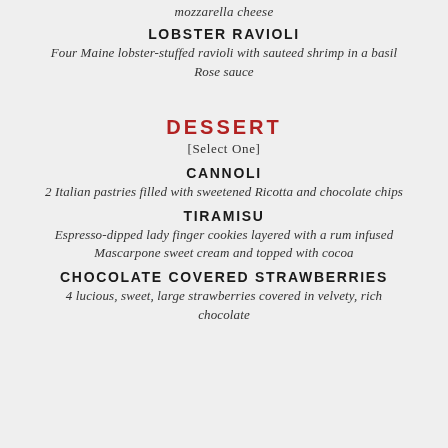mozzarella cheese
LOBSTER RAVIOLI
Four Maine lobster-stuffed ravioli with sauteed shrimp in a basil Rose sauce
DESSERT
[Select One]
CANNOLI
2 Italian pastries filled with sweetened Ricotta and chocolate chips
TIRAMISU
Espresso-dipped lady finger cookies layered with a rum infused Mascarpone sweet cream and topped with cocoa
CHOCOLATE COVERED STRAWBERRIES
4 lucious, sweet, large strawberries covered in velvety, rich chocolate